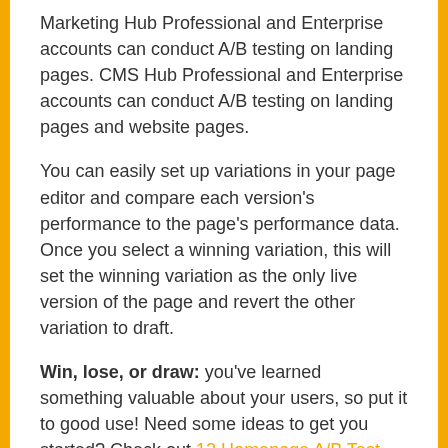Marketing Hub Professional and Enterprise accounts can conduct A/B testing on landing pages. CMS Hub Professional and Enterprise accounts can conduct A/B testing on landing pages and website pages.
You can easily set up variations in your page editor and compare each version's performance to the page's performance data. Once you select a winning variation, this will set the winning variation as the only live version of the page and revert the other variation to draft.
Win, lose, or draw: you've learned something valuable about your users, so put it to good use! Need some ideas to get you started? Check out 12 Homepage A/B Test Ideas Backed by UX Research.
Need help running and evaluating your tests? Check out